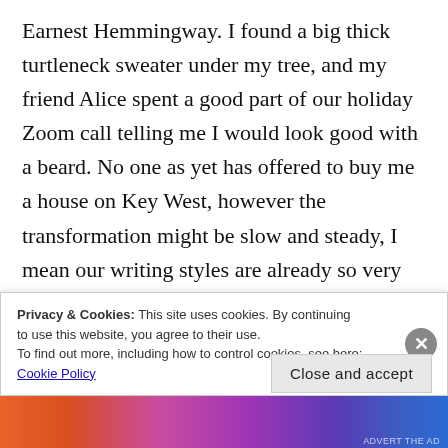Earnest Hemmingway. I found a big thick turtleneck sweater under my tree, and my friend Alice spent a good part of our holiday Zoom call telling me I would look good with a beard. No one as yet has offered to buy me a house on Key West, however the transformation might be slow and steady, I mean our writing styles are already so very similar. There are differences, I mean I'm not willing to say farewell to my arms as yet, but I do know the sun also rises, and last year in New Jersey I met an old man, and he could
Privacy & Cookies: This site uses cookies. By continuing to use this website, you agree to their use.
To find out more, including how to control cookies, see here: Cookie Policy
Close and accept